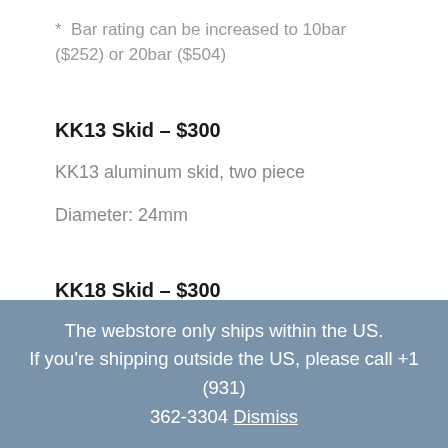* Bar rating can be increased to 10bar ($252) or 20bar ($504)
KK13 Skid – $300
KK13 aluminum skid, two piece
Diameter: 24mm
KK18 Skid – $300
The webstore only ships within the US. If you're shipping outside the US, please call +1 (931) 362-3304 Dismiss